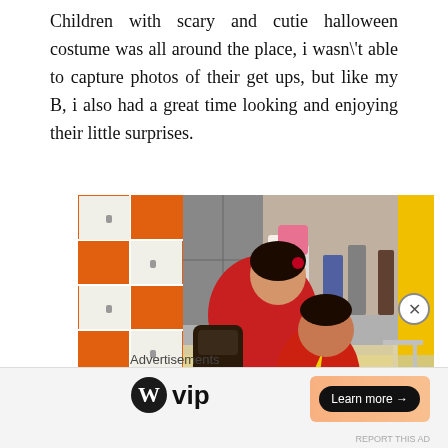Children with scary and cutie halloween costume was all around the place, i wasn\'t able to capture photos of their get ups, but like my B, i also had a great time looking and enjoying their little surprises.
[Figure (photo): A woman crouching next to a young child dressed in a red superhero Halloween costume, holding an orange jack-o-lantern candy bucket. They are sitting against orange and white lockers. In the background, other people are standing.]
Advertisements
[Figure (logo): WordPress VIP logo with a circular W icon followed by the word 'vip' in bold]
[Figure (other): Advertisement banner with a peach/salmon gradient background and a 'Learn more →' button in a dark pill shape]